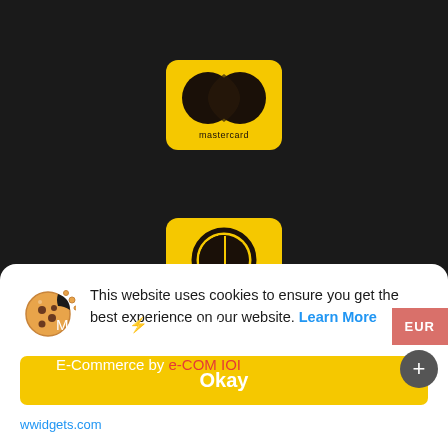[Figure (logo): Mastercard logo on yellow rounded square background — two overlapping circles (dark brown/black) with 'mastercard' text below]
[Figure (logo): Diners Club / Maestro style logo on yellow rounded square background — circle with vertical half divider symbol]
Made with ⚡ in Istanbul.
E-Commerce by e-COM IOI
This website uses cookies to ensure you get the best experience on our website. Learn More
Okay
wwidgets.com